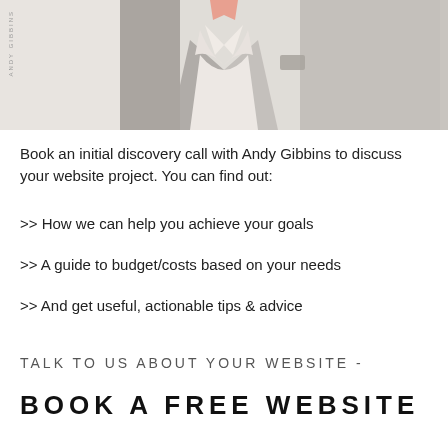[Figure (photo): Photo of Andy Gibbins, a man in a grey blazer and white shirt, cropped at chest level, white background]
Book an initial discovery call with Andy Gibbins to discuss your website project. You can find out:
>> How we can help you achieve your goals
>> A guide to budget/costs based on your needs
>> And get useful, actionable tips & advice
TALK TO US ABOUT YOUR WEBSITE -
BOOK A FREE WEBSITE